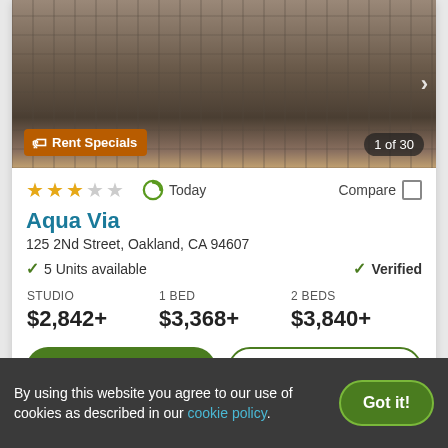[Figure (photo): Exterior photo of a multi-story modern apartment building (Aqua Via) with brick facade. Overlaid with 'Rent Specials' badge and '1 of 30' counter.]
★★★☆☆   Today   Compare
Aqua Via
125 2Nd Street, Oakland, CA 94607
✓ 5 Units available   ✓ Verified
| Studio | 1 BED | 2 BEDS |
| --- | --- | --- |
| $2,842+ | $3,368+ | $3,840+ |
View Details   Contact Property
By using this website you agree to our use of cookies as described in our cookie policy.